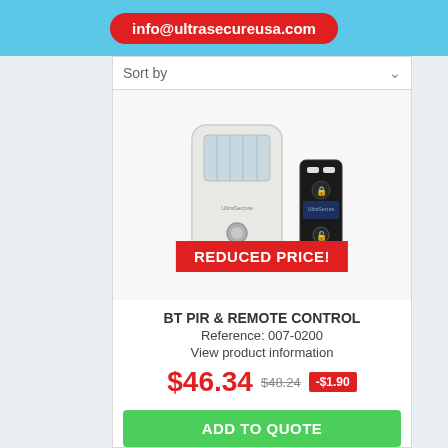info@ultrasecureusa.com
Sort by
[Figure (photo): BT PIR motion sensor device (white, rectangular) with a small black remote control fob, with a red 'REDUCED PRICE!' banner overlaid]
BT PIR & REMOTE CONTROL
Reference: 007-0200
View product information
$46.34  $48.24  -$1.90
ADD TO QUOTE